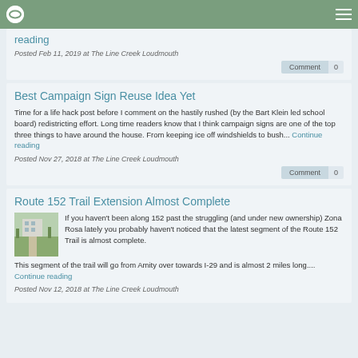The Line Creek Loudmouth
reading
Posted Feb 11, 2019 at The Line Creek Loudmouth
Comment 0
Best Campaign Sign Reuse Idea Yet
Time for a life hack post before I comment on the hastily rushed (by the Bart Klein led school board) redistricting effort. Long time readers know that I think campaign signs are one of the top three things to have around the house. From keeping ice off windshields to bush... Continue reading
Posted Nov 27, 2018 at The Line Creek Loudmouth
Comment 0
Route 152 Trail Extension Almost Complete
[Figure (photo): Outdoor path/trail photo near Zona Rosa area]
If you haven't been along 152 past the struggling (and under new ownership) Zona Rosa lately you probably haven't noticed that the latest segment of the Route 152 Trail is almost complete. This segment of the trail will go from Amity over towards I-29 and is almost 2 miles long.... Continue reading
Posted Nov 12, 2018 at The Line Creek Loudmouth